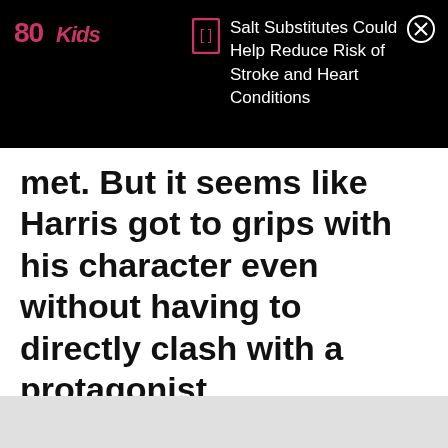[Figure (logo): 80Kids logo in pink/magenta on black background]
Salt Substitutes Could Help Reduce Risk of Stroke and Heart Conditions
met. But it seems like Harris got to grips with his character even without having to directly clash with a protagonist.